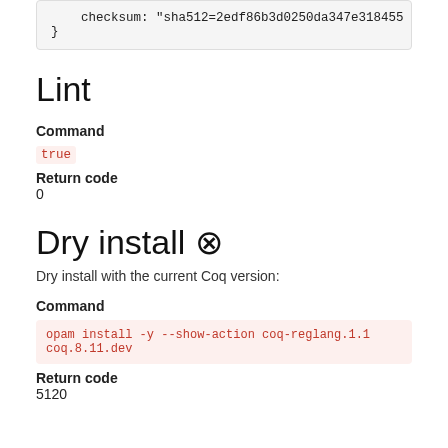checksum: "sha512=2edf86b3d0250da347e318455"
}
Lint
Command
true
Return code
0
Dry install ⊠
Dry install with the current Coq version:
Command
opam install -y --show-action coq-reglang.1.1
coq.8.11.dev
Return code
5120